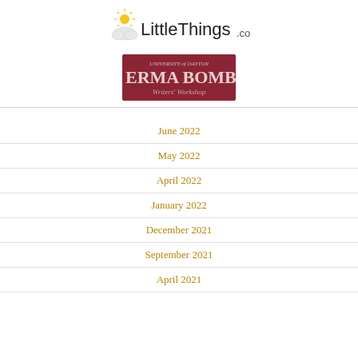LittleThings.com
[Figure (logo): Erma Bombeck Writers' Workshop - University of Dayton banner image with dark red/maroon background]
June 2022
May 2022
April 2022
January 2022
December 2021
September 2021
April 2021